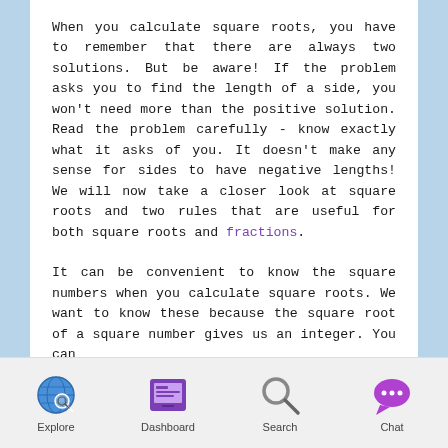When you calculate square roots, you have to remember that there are always two solutions. But be aware! If the problem asks you to find the length of a side, you won't need more than the positive solution. Read the problem carefully - know exactly what it asks of you. It doesn't make any sense for sides to have negative lengths! We will now take a closer look at square roots and two rules that are useful for both square roots and fractions.

It can be convenient to know the square numbers when you calculate square roots. We want to know these because the square root of a square number gives us an integer. You can
Explore | Dashboard | Search | Chat